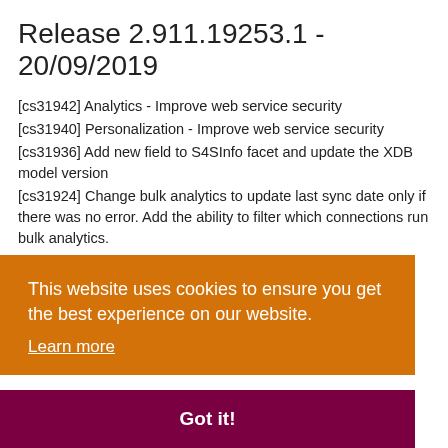Release 2.911.19253.1 - 20/09/2019
[cs31942] Analytics - Improve web service security
[cs31940] Personalization - Improve web service security
[cs31936] Add new field to S4SInfo facet and update the XDB model version
[cs31924] Change bulk analytics to update last sync date only if there was no error. Add the ability to filter which connections run bulk analytics.
[cs31892] G4S - added additional debug logging when processing the G4SLicense.xml file.
[cs31884] Logging Experience Forms data for failed
This website uses cookies to ensure you get the best experience on our website.
Learn more
Got it!
[cs31748] Update all API calls to use v46.0 Summer '19